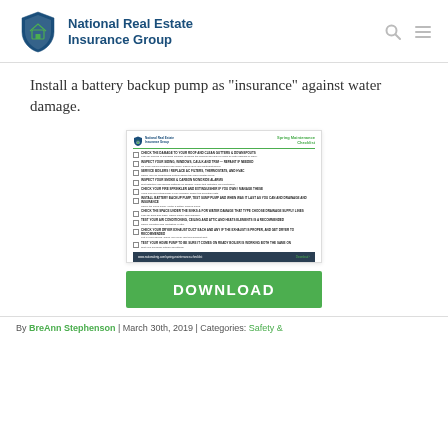National Real Estate Insurance Group
Install a battery backup pump as "insurance" against water damage.
[Figure (illustration): Preview image of National Real Estate Insurance Group Spring Maintenance Checklist document with multiple checkbox items and a dark download footer bar.]
[Figure (other): Green DOWNLOAD button]
By BreAnn Stephenson | March 30th, 2019 | Categories: Safety &